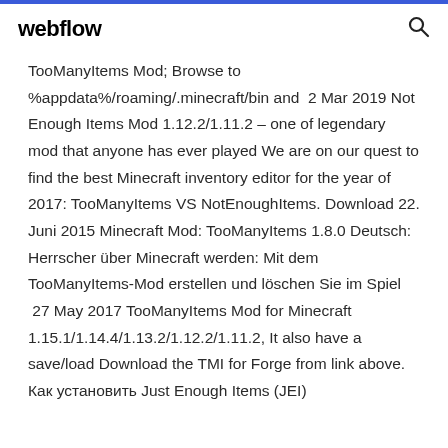webflow
TooManyItems Mod; Browse to %appdata%/roaming/.minecraft/bin and  2 Mar 2019 Not Enough Items Mod 1.12.2/1.11.2 – one of legendary mod that anyone has ever played We are on our quest to find the best Minecraft inventory editor for the year of 2017: TooManyItems VS NotEnoughItems. Download 22. Juni 2015 Minecraft Mod: TooManyItems 1.8.0 Deutsch: Herrscher über Minecraft werden: Mit dem TooManyItems-Mod erstellen und löschen Sie im Spiel  27 May 2017 TooManyItems Mod for Minecraft 1.15.1/1.14.4/1.13.2/1.12.2/1.11.2, It also have a save/load Download the TMI for Forge from link above. Как установить Just Enough Items (JEI)